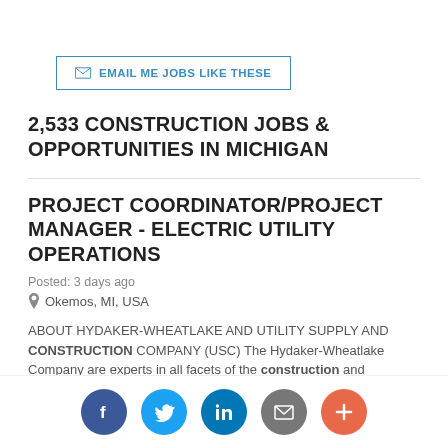EMAIL ME JOBS LIKE THESE
2,533 CONSTRUCTION JOBS & OPPORTUNITIES IN MICHIGAN
PROJECT COORDINATOR/PROJECT MANAGER - ELECTRIC UTILITY OPERATIONS
Posted: 3 days ago
Okemos, MI, USA
ABOUT HYDAKER-WHEATLAKE AND UTILITY SUPPLY AND CONSTRUCTION COMPANY (USC) The Hydaker-Wheatlake Company are experts in all facets of the construction and maintenance of electric and gas utility ...